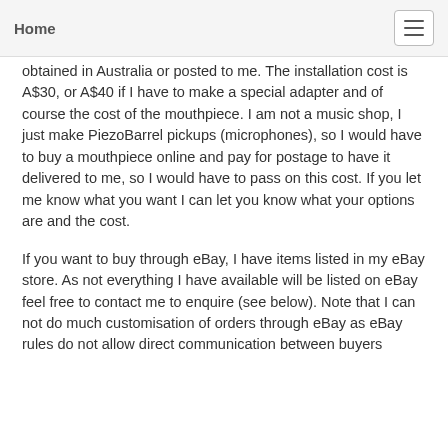Home
obtained in Australia or posted to me. The installation cost is A$30, or A$40 if I have to make a special adapter and of course the cost of the mouthpiece. I am not a music shop, I just make PiezoBarrel pickups (microphones), so I would have to buy a mouthpiece online and pay for postage to have it delivered to me, so I would have to pass on this cost. If you let me know what you want I can let you know what your options are and the cost.
If you want to buy through eBay, I have items listed in my eBay store. As not everything I have available will be listed on eBay feel free to contact me to enquire (see below). Note that I can not do much customisation of orders through eBay as eBay rules do not allow direct communication between buyers